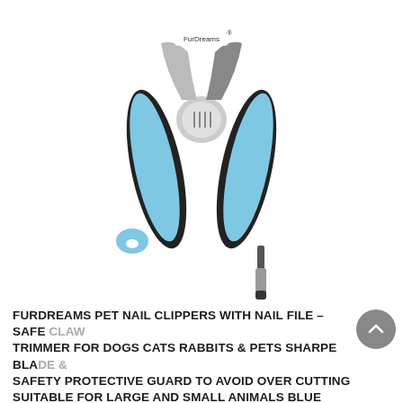[Figure (photo): FurDreams pet nail clippers with nail file. The clippers have light blue handles with black rubber grip inserts, a silver pivot mechanism in the center, and a nail file/emery board attachment on the lower right. The FurDreams brand logo is printed on the top of the tool. The image is on a white background.]
FURDREAMS PET NAIL CLIPPERS WITH NAIL FILE – SAFE CLAW TRIMMER FOR DOGS CATS RABBITS & PETS SHARPE BLADE & SAFETY PROTECTIVE GUARD TO AVOID OVER CUTTING SUITABLE FOR LARGE AND SMALL ANIMALS BLUE